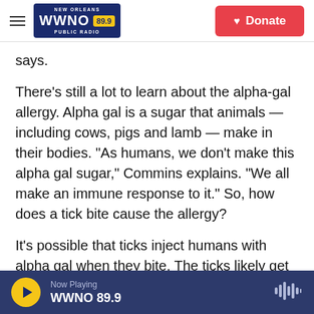[Figure (logo): WWNO 89.9 New Orleans Public Radio logo with hamburger menu and red Donate button]
says.
There's still a lot to learn about the alpha-gal allergy. Alpha gal is a sugar that animals — including cows, pigs and lamb — make in their bodies. "As humans, we don't make this alpha gal sugar," Commins explains. "We all make an immune response to it." So, how does a tick bite cause the allergy?
It's possible that ticks inject humans with alpha gal when they bite. The ticks likely get it from feeding off wild animals, such as mice or squirrels, that also
Now Playing WWNO 89.9